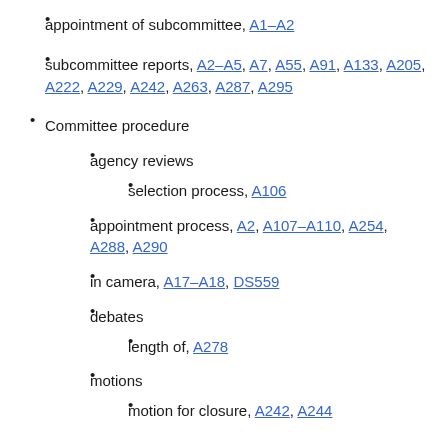appointment of subcommittee, A1–A2
subcommittee reports, A2–A5, A7, A55, A91, A133, A205, A222, A229, A242, A263, A287, A295
Committee procedure
agency reviews
selection process, A106
appointment process, A2, A107–A110, A254, A288, A290
in camera, A17–A18, DS559
debates
length of, A278
motions
motion for closure, A242, A244